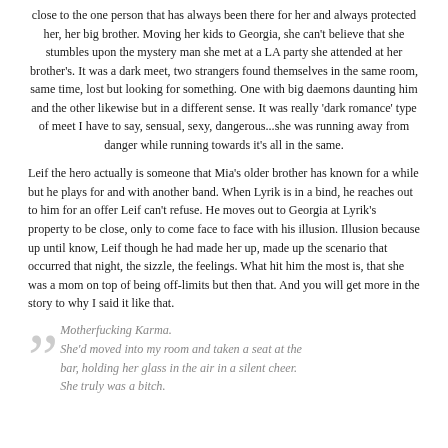close to the one person that has always been there for her and always protected her, her big brother. Moving her kids to Georgia, she can't believe that she stumbles upon the mystery man she met at a LA party she attended at her brother's. It was a dark meet, two strangers found themselves in the same room, same time, lost but looking for something. One with big daemons daunting him and the other likewise but in a different sense. It was really 'dark romance' type of meet I have to say, sensual, sexy, dangerous...she was running away from danger while running towards it's all in the same.
Leif the hero actually is someone that Mia's older brother has known for a while but he plays for and with another band. When Lyrik is in a bind, he reaches out to him for an offer Leif can't refuse. He moves out to Georgia at Lyrik's property to be close, only to come face to face with his illusion. Illusion because up until know, Leif though he had made her up, made up the scenario that occurred that night, the sizzle, the feelings. What hit him the most is, that she was a mom on top of being off-limits but then that. And you will get more in the story to why I said it like that.
Motherfucking Karma.
She'd moved into my room and taken a seat at the bar, holding her glass in the air in a silent cheer.
She truly was a bitch.